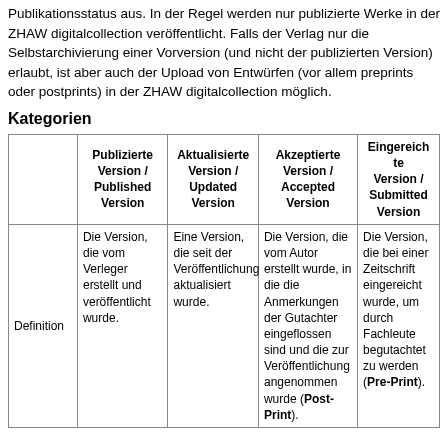Publikationsstatus aus. In der Regel werden nur publizierte Werke in der ZHAW digitalcollection veröffentlicht. Falls der Verlag nur die Selbstarchivierung einer Vorversion (und nicht der publizierten Version) erlaubt, ist aber auch der Upload von Entwürfen (vor allem preprints oder postprints) in der ZHAW digitalcollection möglich.
Kategorien
|  | Publizierte Version / Published Version | Aktualisierte Version / Updated Version | Akzeptierte Version / Accepted Version | Eingereichte Version / Submitted Version |
| --- | --- | --- | --- | --- |
| Definition | Die Version, die vom Verleger erstellt und veröffentlicht wurde. | Eine Version, die seit der Veröffentlichung aktualisiert wurde. | Die Version, die vom Autor erstellt wurde, in die die Anmerkungen der Gutachter eingeflossen sind und die zur Veröffentlichung angenommen wurde (Post-Print). | Die Version, die bei einer Zeitschrift eingereicht wurde, um durch Fachleute begutachtet zu werden (Pre-Print). |